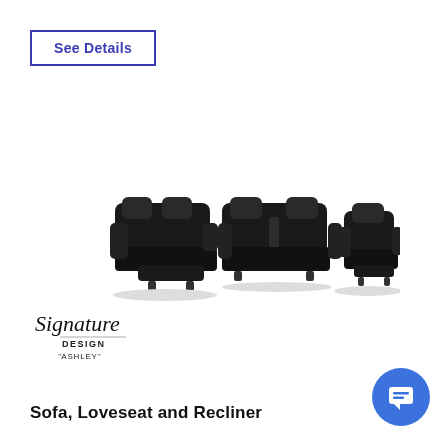See Details
[Figure (photo): Three-piece black leather recliner furniture set: a reclining sofa on the left, a loveseat with center console in the middle, and a single recliner chair on the right.]
[Figure (logo): Signature Design by Ashley logo in cursive script with 'DESIGN BY ASHLEY' text below]
Sofa, Loveseat and Recliner